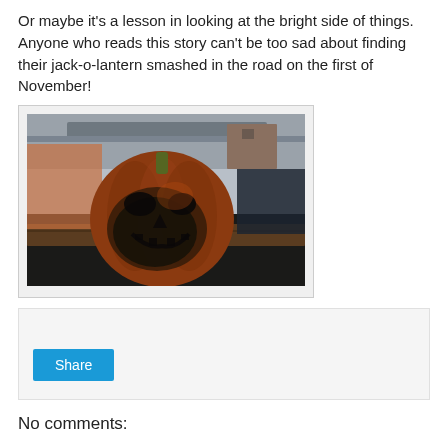Or maybe it's a lesson in looking at the bright side of things. Anyone who reads this story can't be too sad about finding their jack-o-lantern smashed in the road on the first of November!
[Figure (photo): A decaying, rotting jack-o-lantern pumpkin sitting on what appears to be a wooden surface outdoors. The pumpkin is dark orange-brown and heavily decomposed. Background shows an overpass or bridge structure and some buildings.]
Share
No comments: